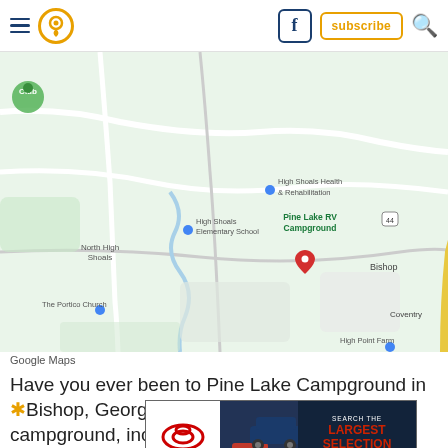Navigation header with hamburger menu, location pin logo, Facebook icon, subscribe button, and search icon
[Figure (map): Google Maps screenshot showing Pine Lake RV Campground near Bishop, Georgia, with red location pin marker. Surrounding area shows North High Shoals, High Shoals Elementary School, High Shoals Health & Rehabilitation, The Portico Church, E.R. Snell Contractor Inc., First Class Pet Resort, High Point Farm, and Coventry area. Yellow highway road visible on right side.]
Google Maps
Have you ever been to Pine Lake Campground in Bishop, Georgia? If so, please share your comments in the comments section below. If you want to find out more about this campground, including current availability and rates, then check out the campground's website.